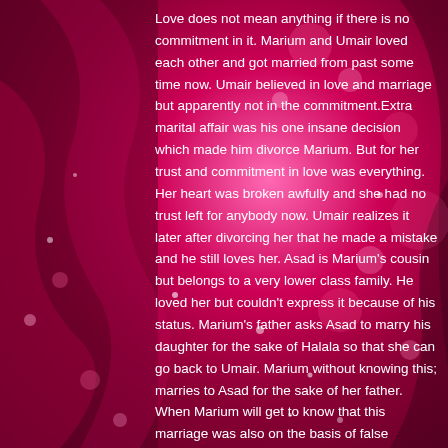[Figure (illustration): Decorative pink and magenta background with bokeh light effects, swirling ribbon shapes, and sparkle dots on a deep pink/crimson gradient.]
Love does not mean anything if there is no commitment in it. Marium and Umair loved each other and got married from past some time now. Umair believed in love and marriage but apparently not in the commitment.Extra marital affair was his one insane decision which made him divorce Marium. But for her trust and commitment in love was everything. Her heart was broken awfully and she had no trust left for anybody now. Umair realizes it later after divorcing her that he made a mistake and he still loves her. Asad is Marium's cousin but belongs to a very lower class family. He loved her but couldn't express it because of his status. Marium's father asks Asad to marry his daughter for the sake of Halala so that she can go back to Umair. Marium without knowing this; marries to Asad for the sake of her father. When Marium will get to know that this marriage was also on the basis of false commitment, What she would do?Who will she choose to live now? Asad or Umair?